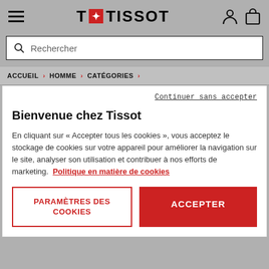T+TISSOT
Rechercher
ACCUEIL > HOMME > CATÉGORIES >
Continuer sans accepter
Bienvenue chez Tissot
En cliquant sur « Accepter tous les cookies », vous acceptez le stockage de cookies sur votre appareil pour améliorer la navigation sur le site, analyser son utilisation et contribuer à nos efforts de marketing. Politique en matière de cookies
PARAMÈTRES DES COOKIES
ACCEPTER